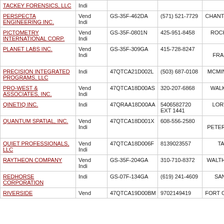| Company | Type | Contract | Phone | Location |  |
| --- | --- | --- | --- | --- | --- |
| TACKEY FORENSICS, LLC | Indi |  |  | ,VA |  |
| PERSPECTA ENGINEERING INC. | Vend Indi | GS-35F-462DA | (571) 521-7729 | CHANTILLY ,VA |  |
| PICTOMETRY INTERNATIONAL CORP. | Vend Indi | GS-35F-0801N | 425-951-8458 | ROCHESTER ,NY |  |
| PLANET LABS INC. | Vend Indi | GS-35F-309GA | 415-728-8247 | SAN FRANCISCO ,CA |  |
| PRECISION INTEGRATED PROGRAMS, LLC | Indi | 47QTCA21D002L | (503) 687-0108 | MCMINNVILLE ,OR |  |
| PRO-WEST & ASSOCIATES, INC. | Vend Indi | 47QTCA18D00AS | 320-207-6868 | WALKER ,MN | s |
| QINETIQ INC. | Indi | 47QRAA18D00AA | 5406582720 EXT 1441 | LORTON ,VA |  |
| QUANTUM SPATIAL, INC. | Vend Indi | 47QTCA18D001X | 608-556-2580 | SAINT PETERSBURG ,FL |  |
| QUIET PROFESSIONALS, LLC | Vend Indi | 47QTCA18D006F | 8139023557 | TAMPA ,FL |  |
| RAYTHEON COMPANY | Vend Indi | GS-35F-204GA | 310-710-8372 | WALTHAM ,MA |  |
| REDHORSE CORPORATION | Indi | GS-07F-134GA | (619) 241-4609 | SAN DIEGO ,CA |  |
| RIVERSIDE | Vend | 47QTCA19D00BM | 9702149419 | FORT COLLINS |  |